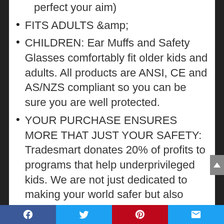ensures clear vision (so you can perfect your aim)
FITS ADULTS &amp;
CHILDREN: Ear Muffs and Safety Glasses comfortably fit older kids and adults. All products are ANSI, CE and AS/NZS compliant so you can be sure you are well protected.
YOUR PURCHASE ENSURES MORE THAT JUST YOUR SAFETY: Tradesmart donates 20% of profits to programs that help underprivileged kids. We are not just dedicated to making your world safer but also others.
Facebook | Twitter | Pinterest | Email